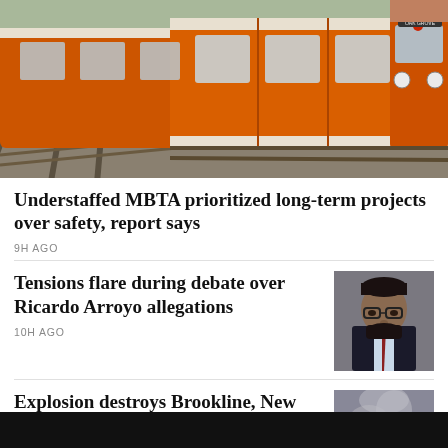[Figure (photo): Orange MBTA subway train on tracks, viewed from front-side angle, at a rail yard or station area.]
Understaffed MBTA prioritized long-term projects over safety, report says
9H AGO
Tensions flare during debate over Ricardo Arroyo allegations
10H AGO
[Figure (photo): A man with glasses and a beard wearing a dark suit and red tie, appearing serious.]
Explosion destroys Brookline, New Hampshire home
[Figure (photo): Aerial or elevated view of debris and destruction from an explosion at a home.]